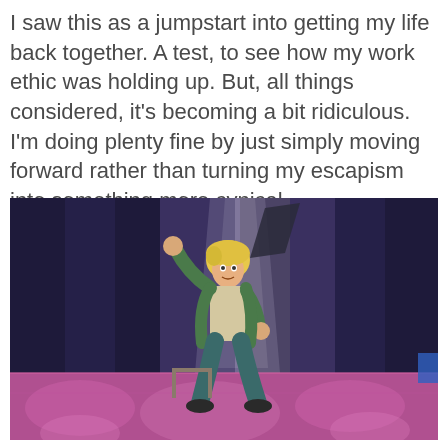I saw this as a jumpstart into getting my life back together. A test, to see how my work ethic was holding up. But, all things considered, it's becoming a bit ridiculous. I'm doing plenty fine by just simply moving forward rather than turning my escapism into something more cynical.
[Figure (screenshot): Screenshot of a video game scene showing a 3D animated male character with blonde hair, wearing a green jacket and teal pants, striking a dance or fighting pose with one arm raised. The background shows a purple/blue nightclub-like stage with pink and purple floor patterns and spotlights.]